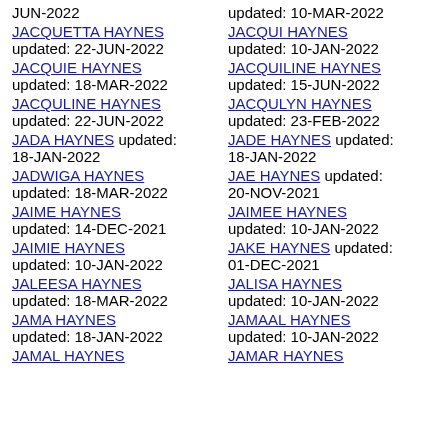updated: 18-MAR-2022 (partial, left col top)
JUN-2022
updated: 10-MAR-2022 (partial, right col top)
JACQUETTA HAYNES updated: 22-JUN-2022
JACQUI HAYNES updated: 10-JAN-2022
JACQUIE HAYNES updated: 18-MAR-2022
JACQUILINE HAYNES updated: 15-JUN-2022
JACQULINE HAYNES updated: 22-JUN-2022
JACQULYN HAYNES updated: 23-FEB-2022
JADA HAYNES updated: 18-JAN-2022
JADE HAYNES updated: 18-JAN-2022
JADWIGA HAYNES updated: 18-MAR-2022
JAE HAYNES updated: 20-NOV-2021
JAIME HAYNES updated: 14-DEC-2021
JAIMEE HAYNES updated: 10-JAN-2022
JAIMIE HAYNES updated: 10-JAN-2022
JAKE HAYNES updated: 01-DEC-2021
JALEESA HAYNES updated: 18-MAR-2022
JALISA HAYNES updated: 10-JAN-2022
JAMA HAYNES updated: 18-JAN-2022
JAMAAL HAYNES updated: 10-JAN-2022
JAMAL HAYNES (partial)
JAMAR HAYNES (partial)